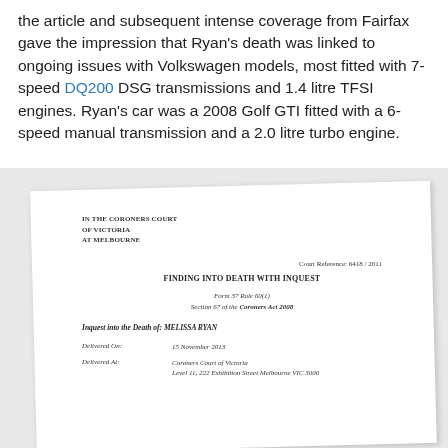the article and subsequent intense coverage from Fairfax gave the impression that Ryan's death was linked to ongoing issues with Volkswagen models, most fitted with 7-speed DQ200 DSG transmissions and 1.4 litre TFSI engines. Ryan's car was a 2008 Golf GTI fitted with a 6-speed manual transmission and a 2.0 litre turbo engine.
[Figure (other): A scanned/photographed legal document from the Coroners Court of Victoria at Melbourne. Court Reference: 6418/2011. Title: FINDING INTO DEATH WITH INQUEST. Form 37 Rule 60(1), Section 67 of the Coroners Act 2008. Inquest into the Death of: MELISSA RYAN. Delivered On: 15 November 2013. Delivered At: Coroners Court of Victoria, Level 11, 222 Exhibition Street Melbourne VIC 3000.]